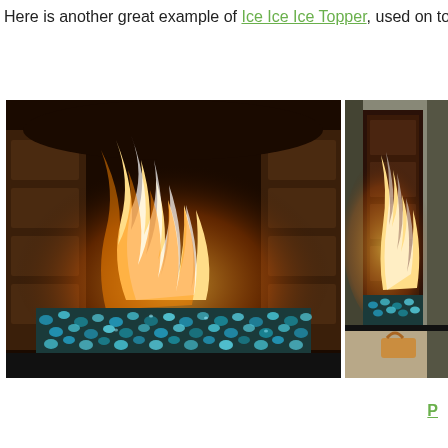Here is another great example of Ice Ice Ice Topper, used on to
[Figure (photo): Left photo: Indoor fireplace with blue-teal fire glass/gems on the base and large open flames rising inside a dark wood-paneled fireplace firebox.]
[Figure (photo): Right photo: Side-angle view of the same fireplace showing flames and blue fire glass, partially cropped with a handle visible at bottom.]
P